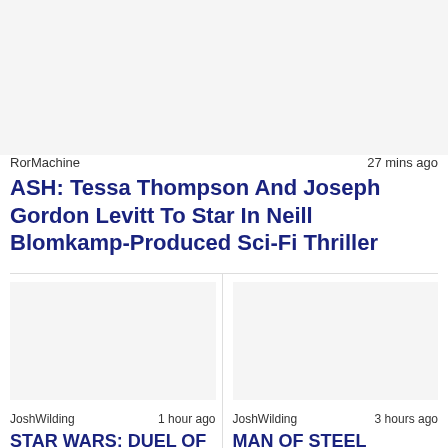RorMachine    27 mins ago
ASH: Tessa Thompson And Joseph Gordon Levitt To Star In Neill Blomkamp-Produced Sci-Fi Thriller
JoshWilding    1 hour ago
STAR WARS: DUEL OF THE FATES - Everything We Know
JoshWilding    3 hours ago
MAN OF STEEL Storyboard Artist Reveals How THE